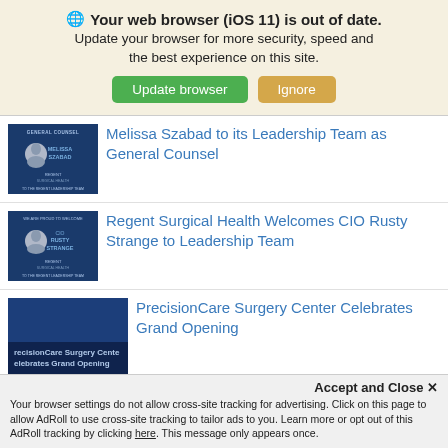🌐 Your web browser (iOS 11) is out of date. Update your browser for more security, speed and the best experience on this site. [Update browser] [Ignore]
[Figure (screenshot): Regent Surgical Health news thumbnail showing Melissa Szabad General Counsel announcement]
Melissa Szabad to its Leadership Team as General Counsel
[Figure (screenshot): Regent Surgical Health news thumbnail showing CIO Rusty Strange announcement]
Regent Surgical Health Welcomes CIO Rusty Strange to Leadership Team
[Figure (screenshot): PrecisionCare Surgery Center grand opening news thumbnail]
PrecisionCare Surgery Center Celebrates Grand Opening
Accept and Close ✕ Your browser settings do not allow cross-site tracking for advertising. Click on this page to allow AdRoll to use cross-site tracking to tailor ads to you. Learn more or opt out of this AdRoll tracking by clicking here. This message only appears once.